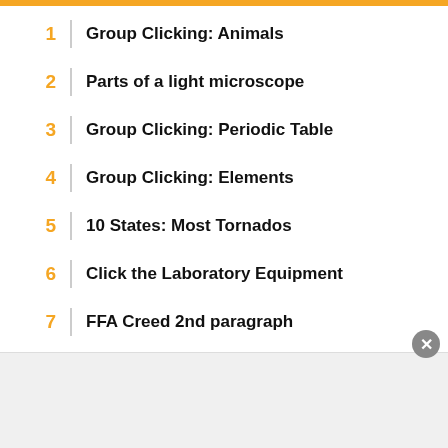1  Group Clicking: Animals
2  Parts of a light microscope
3  Group Clicking: Periodic Table
4  Group Clicking: Elements
5  10 States: Most Tornados
6  Click the Laboratory Equipment
7  FFA Creed 2nd paragraph
8  South Island's Native Animals
9  Decade by Three Scientific Events